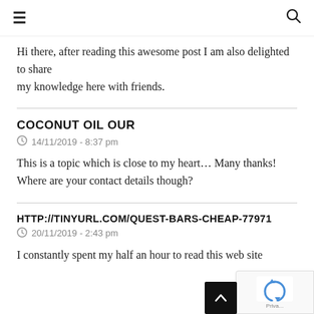☰   🔍
Hi there, after reading this awesome post I am also delighted to share my knowledge here with friends.
COCONUT OIL OUR
14/11/2019 - 8:37 pm
This is a topic which is close to my heart… Many thanks! Where are your contact details though?
HTTP://TINYURL.COM/QUEST-BARS-CHEAP-77971
20/11/2019 - 2:43 pm
I constantly spent my half an hour to read this web site